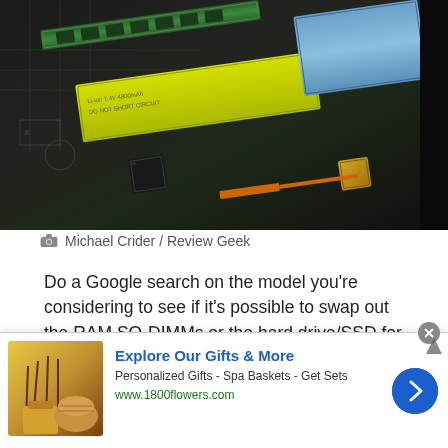[Figure (photo): Close-up photo of laptop internals showing circuit board, yellow battery, blue screen component, RAM stick, and gold capacitor. Photo credit: Michael Crider / Review Geek]
Michael Crider / Review Geek
Do a Google search on the model you’re considering to see if it's possible to swap out the RAM SO-DIMMs or the hard drive/SSD for an inexpensive performance boost. Laptops with a replaceable battery are a good find, too, as the battery is usually the first part to wear out.
Red Flags